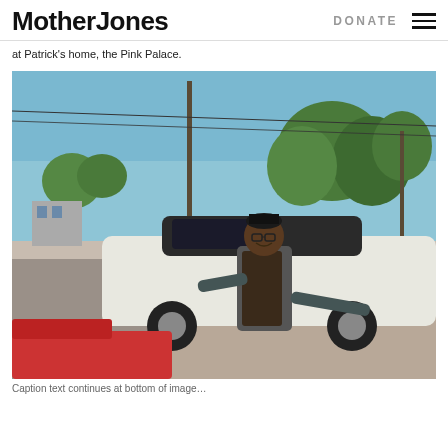Mother Jones | DONATE
at Patrick’s home, the Pink Palace.
[Figure (photo): An elderly Black man wearing a dark apron and black cap, smiling and leaning against a white vintage car on a suburban street. Green trees and power lines are visible in the background. A red car is partially visible in the foreground.]
Caption text continues at bottom of image...